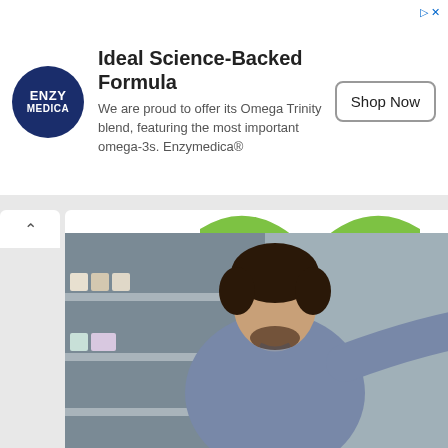[Figure (illustration): Enzymedica logo — dark navy blue circle with white text ENZY MEDICA]
Ideal Science-Backed Formula
We are proud to offer its Omega Trinity blend, featuring the most important omega-3s. Enzymedica®
Shop Now
[Figure (logo): OneKosher logo with green arc on top, ONE in green, KOSHER in navy blue, subtitle: México · Panamá · Colombia · Costa Rica]
proudly certifies more than 5000 products in Mexico and Latin America
[Figure (photo): A man with dark curly hair wearing a blue sweater reaching for a product on a grocery store shelf]